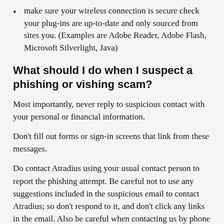make sure your wireless connection is secure check your plug-ins are up-to-date and only sourced from sites you. (Examples are Adobe Reader, Adobe Flash, Microsoft Silverlight, Java)
What should I do when I suspect a phishing or vishing scam?
Most importantly, never reply to suspicious contact with your personal or financial information.
Don't fill out forms or sign-in screens that link from these messages.
Do contact Atradius using your usual contact person to report the phishing attempt. Be careful not to use any suggestions included in the suspicious email to contact Atradius; so don't respond to it, and don't click any links in the email. Also be careful when contacting us by phone after a suspected vishing attempt – wait several minutes before